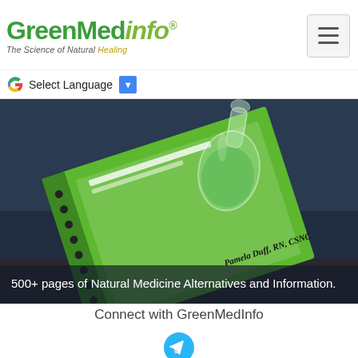GreenMedInfo® — The Science of Natural Healing
Select Language
[Figure (photo): Hero banner showing a green spiral-bound book with a glass laboratory bottle/flask on top, tilted at an angle on a dark teal background. The book cover features text about natural medicine alternatives. Author shown as Pamela Duff, RN, CSNC.]
500+ pages of Natural Medicine Alternatives and Information.
Connect with GreenMedInfo